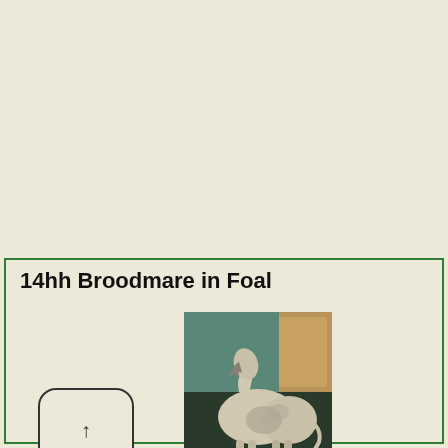14hh Broodmare in Foal
[Figure (photo): A light-colored (grey/white) horse standing in what appears to be a barn or stable area with green walls and wooden structures visible in the background.]